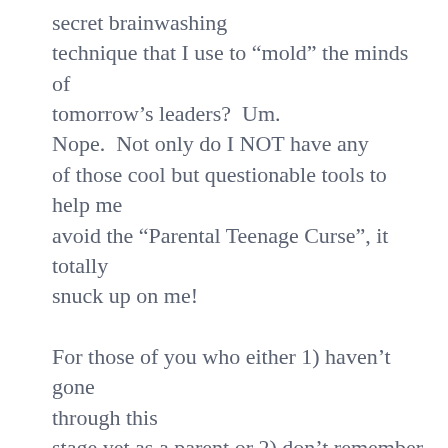secret brainwashing technique that I use to “mold” the minds of tomorrow’s leaders?  Um. Nope.  Not only do I NOT have any of those cool but questionable tools to help me avoid the “Parental Teenage Curse”, it totally snuck up on me!

For those of you who either 1) haven’t gone through this stage yet as a parent or 2) don’t remember going through it as a teen, let me enlighten you to a common and extremely annoying stage that many teenagers go through.  You see, there comes a time in a teen’s life when he or she realizes that their parents are completely clueless and have little or no redeeming value whatsoever.  They, on the other hand, have